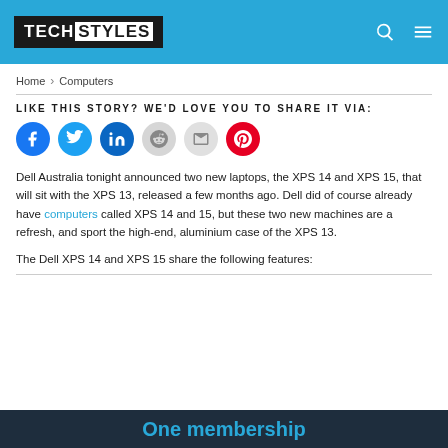TECH STYLES
Home > Computers
LIKE THIS STORY? WE'D LOVE YOU TO SHARE IT VIA:
[Figure (infographic): Row of social media share buttons: Facebook (blue), Twitter (blue), LinkedIn (dark blue), Reddit (light grey), Email (grey), Pinterest (red)]
Dell Australia tonight announced two new laptops, the XPS 14 and XPS 15, that will sit with the XPS 13, released a few months ago. Dell did of course already have computers called XPS 14 and 15, but these two new machines are a refresh, and sport the high-end, aluminium case of the XPS 13.
The Dell XPS 14 and XPS 15 share the following features:
One membership